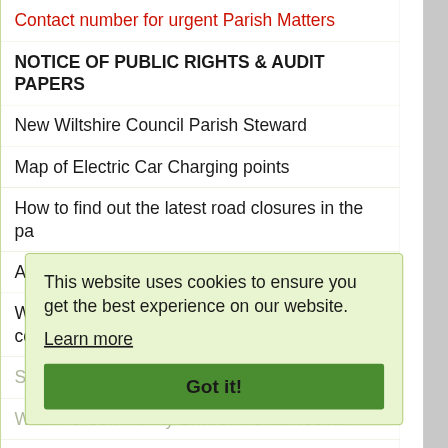Contact number for urgent Parish Matters
NOTICE OF PUBLIC RIGHTS & AUDIT PAPERS
New Wiltshire Council Parish Steward
Map of Electric Car Charging points
How to find out the latest road closures in the pa
Ash die back trees to be felled in Bowerhill area
Wiltshire Council report on 2nd bypass consultatio
Shaw & Whitley Flood Wardens
Wiltshire Community Environmental Toolkit
MELKSHAM NEIGHBOURHOOD PLAN
Response to A350 Bypass (2nd consultation)
Aug 21
Privacy Notice & Data Protection Policies
How the parish council use and store personal
This website uses cookies to ensure you get the best experience on our website.
Learn more
Got it!